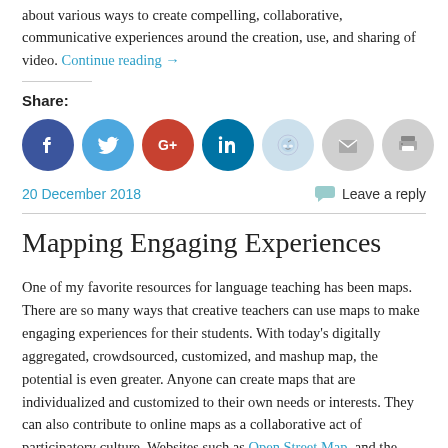about various ways to create compelling, collaborative, communicative experiences around the creation, use, and sharing of video. Continue reading →
Share:
[Figure (infographic): Social sharing icons: Facebook (dark blue), Twitter (light blue), Google+ (red), LinkedIn (dark blue), Reddit (light blue/grey), Email (grey), Print (grey)]
20 December 2018   Leave a reply
Mapping Engaging Experiences
One of my favorite resources for language teaching has been maps. There are so many ways that creative teachers can use maps to make engaging experiences for their students. With today's digitally aggregated, crowdsourced, customized, and mashup map, the potential is even greater. Anyone can create maps that are individualized and customized to their own needs or interests. They can also contribute to online maps as a collaborative act of participatory culture. Websites such as Open Street Map, and the